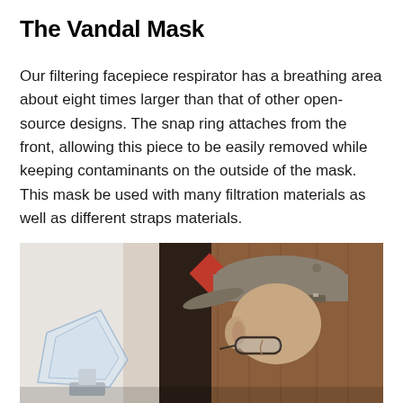The Vandal Mask
Our filtering facepiece respirator has a breathing area about eight times larger than that of other open-source designs. The snap ring attaches from the front, allowing this piece to be easily removed while keeping contaminants on the outside of the mask. This mask be used with many filtration materials as well as different straps materials.
[Figure (photo): A person wearing a grey baseball cap and glasses, bending forward and examining or fitting a transparent/acrylic mask device in what appears to be a laboratory or workshop setting with wooden and white walls in the background.]